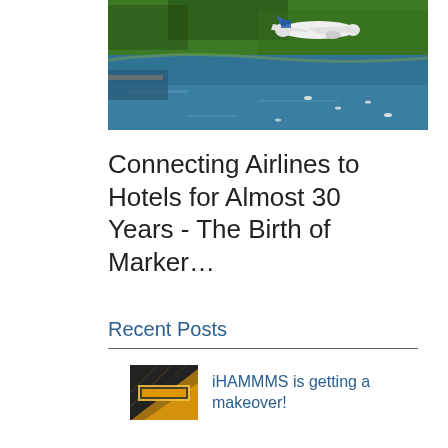[Figure (photo): Aerial photograph of an airplane flying over a body of water with forested hills in the background and boats visible on the water]
Connecting Airlines to Hotels for Almost 30 Years - The Birth of Marker…
Recent Posts
[Figure (photo): Small thumbnail image with yellow/orange background showing warning stripes and text, related to iHAMMMS makeover post]
iHAMMMS is getting a makeover!